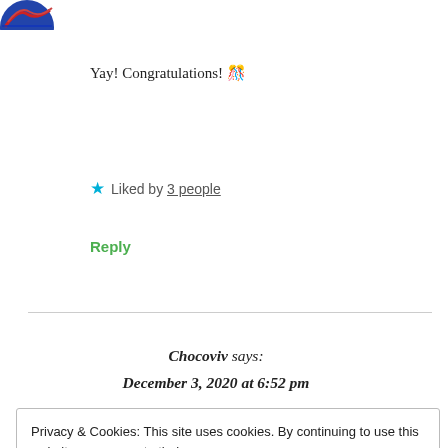[Figure (illustration): Partial circular avatar/logo with blue and red colors, cropped at top-left corner]
Yay! Congratulations! 🎊
★ Liked by 3 people
Reply
Chocoviv says:
December 3, 2020 at 6:52 pm
Privacy & Cookies: This site uses cookies. By continuing to use this website, you agree to their use.
To find out more, including how to control cookies, see here: Cookie Policy
Close and accept